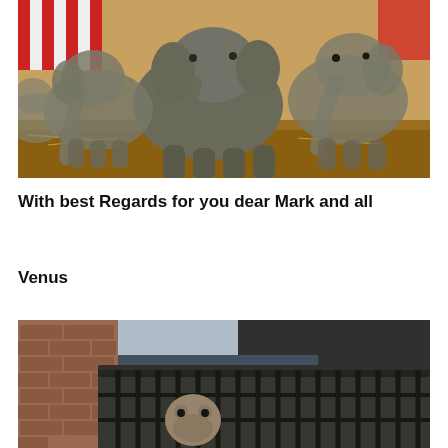[Figure (photo): A group of Asian elephants walking inside a circus tent. The elephants are seen from the front walking toward the camera. Circus red and white striped tent fabric is visible in the upper left background. Ground is covered with hay/straw.]
With best Regards for you dear Mark and all
Venus
[Figure (photo): An animal (appears to be a bear or large mammal) inside a metal cage or transport crate. Brick wall visible in background on the left. The cage has thick metal bars. A dark structure is visible on top.]